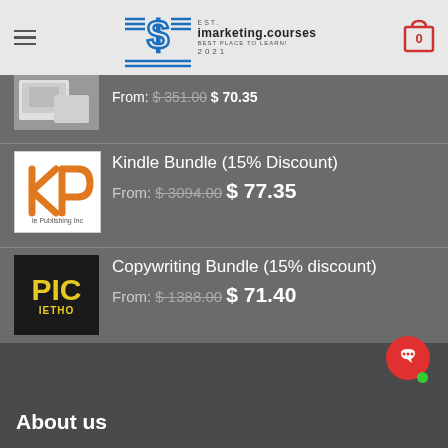[Figure (logo): imarketing.courses logo with dollar sign graphic and text: EST. imarketing.courses BEST PLACE TO LEARN! 2021]
[Figure (screenshot): Partially visible product thumbnail for first bundle item]
From: $351.00  $ 70.35
[Figure (logo): KP - Kindle Publishing Income logo, orange K and P on white background with text 'le Publishing Inc']
Kindle Bundle (15% Discount)
From: $3094.00  $ 77.35
[Figure (logo): PIG METHO logo in yellow on dark background]
Copywriting Bundle (15% discount)
From: $1388.00  $ 71.40
About us